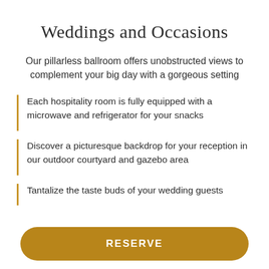Weddings and Occasions
Our pillarless ballroom offers unobstructed views to complement your big day with a gorgeous setting
Each hospitality room is fully equipped with a microwave and refrigerator for your snacks
Discover a picturesque backdrop for your reception in our outdoor courtyard and gazebo area
Tantalize the taste buds of your wedding guests
RESERVE